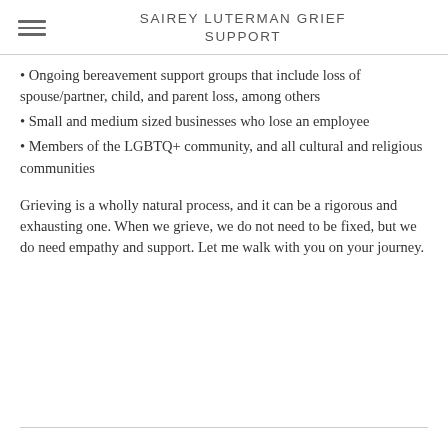SAIREY LUTERMAN GRIEF SUPPORT
Ongoing bereavement support groups that include loss of spouse/partner, child, and parent loss, among others
Small and medium sized businesses who lose an employee
Members of the LGBTQ+ community, and all cultural and religious communities
Grieving is a wholly natural process, and it can be a rigorous and exhausting one. When we grieve, we do not need to be fixed, but we do need empathy and support. Let me walk with you on your journey.